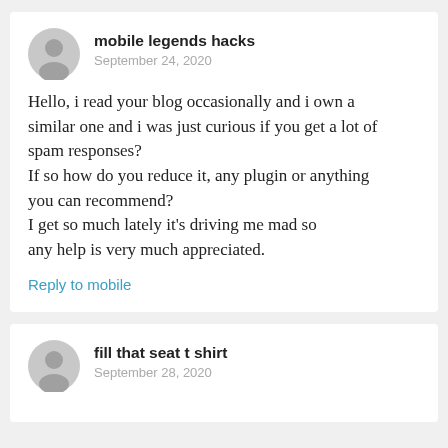[Figure (illustration): Grey circular avatar icon for user 'mobile legends hacks']
mobile legends hacks
September 24, 2020
Hello, i read your blog occasionally and i own a similar one and i was just curious if you get a lot of spam responses?
If so how do you reduce it, any plugin or anything you can recommend?
I get so much lately it's driving me mad so any help is very much appreciated.
Reply to mobile
[Figure (illustration): Grey circular avatar icon for user 'fill that seat t shirt']
fill that seat t shirt
September 28, 2020